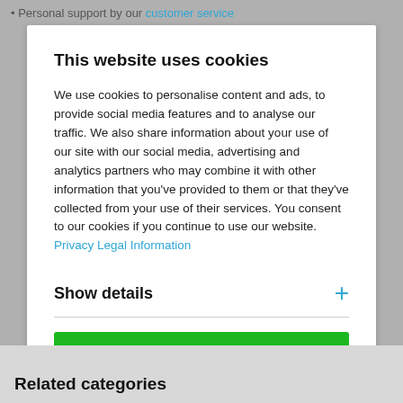Personal support by our customer service
This website uses cookies
We use cookies to personalise content and ads, to provide social media features and to analyse our traffic. We also share information about your use of our site with our social media, advertising and analytics partners who may combine it with other information that you've provided to them or that they've collected from your use of their services. You consent to our cookies if you continue to use our website. Privacy Legal Information
Show details +
Allow all cookies
Related categories